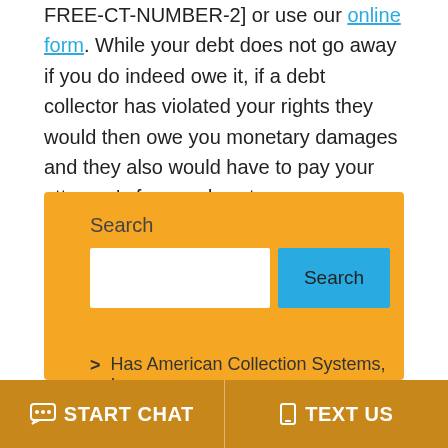FREE-CT-NUMBER-2] or use our online form. While your debt does not go away if you do indeed owe it, if a debt collector has violated your rights they would then owe you monetary damages and they also would have to pay your attorney's fees and costs.
Search
Search (button)
> Has American Collection Systems, Inc.
START CHAT   TEXT US